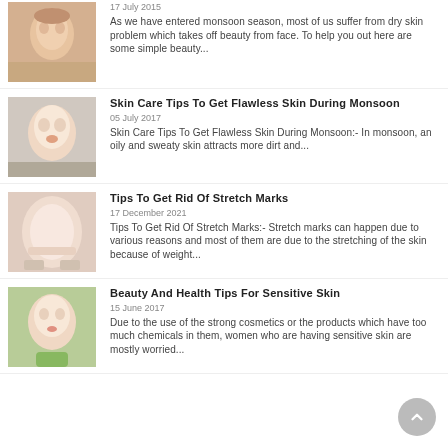[Figure (photo): Woman applying foundation or cream to face]
17 July 2015
As we have entered monsoon season, most of us suffer from dry skin problem which takes off beauty from face. To help you out here are some simple beauty...
[Figure (photo): Woman with clear skin touching her face/neck]
Skin Care Tips To Get Flawless Skin During Monsoon
05 July 2017
Skin Care Tips To Get Flawless Skin During Monsoon:- In monsoon, an oily and sweaty skin attracts more dirt and...
[Figure (photo): Person showing stomach/belly area with stretch marks region]
Tips To Get Rid Of Stretch Marks
17 December 2021
Tips To Get Rid Of Stretch Marks:- Stretch marks can happen due to various reasons and most of them are due to the stretching of the skin because of weight...
[Figure (photo): Woman with sensitive skin holding green leaf near face]
Beauty And Health Tips For Sensitive Skin
15 June 2017
Due to the use of the strong cosmetics or the products which have too much chemicals in them, women who are having sensitive skin are mostly worried...